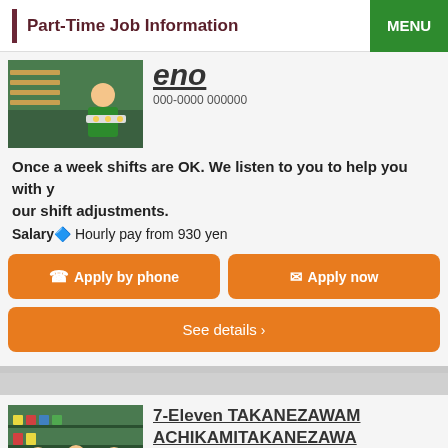Part-Time Job Information | MENU
[Figure (photo): 7-Eleven store worker in green uniform preparing food]
eno
000-0000 00000000
Once a week shifts are OK. We listen to you to help you with your shift adjustments.
Salary： Hourly pay from 930 yen
Apply by phone
Apply now
See details ›
[Figure (photo): 7-Eleven store staff in green uniforms standing together smiling]
7-Eleven TAKANEZAWAM ACHIKAMITAKANEZAWA
000-0000 0000000000